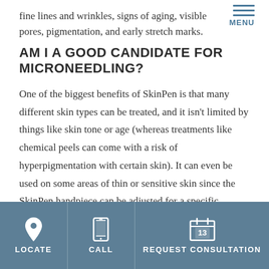fine lines and wrinkles, signs of aging, visible pores, pigmentation, and early stretch marks.
AM I A GOOD CANDIDATE FOR MICRONEEDLING?
One of the biggest benefits of SkinPen is that many different skin types can be treated, and it isn't limited by things like skin tone or age (whereas treatments like chemical peels can come with a risk of hyperpigmentation with certain skin). It can even be used on some areas of thin or sensitive skin since the SkinPen handpiece can be adjusted for a specific treatment depth. One of the few limiting factors of
LOCATE | CALL | REQUEST CONSULTATION